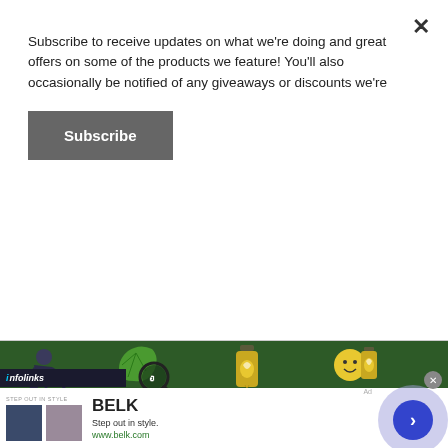Subscribe to receive updates on what we're doing and great offers on some of the products we feature! You'll also occasionally be notified of any giveaways or discounts we're
Subscribe
[Figure (infographic): CBD and depression infographic with dark green background, showing four icons (person with depression, cannabis leaf with magnifying glass, CBD oil bottle, happy face with CBD bottle) and descriptive text panels, followed by a yellow banner 'Endocannabinoids, Serotonin, and CBD' and a lower section about cannabinoids in the body.]
infolinks
[Figure (infographic): Ad banner for BELK department store: 'Step out in style.' with www.belk.com, showing two clothing/product thumbnail images and a blue arrow circle button on the right.]